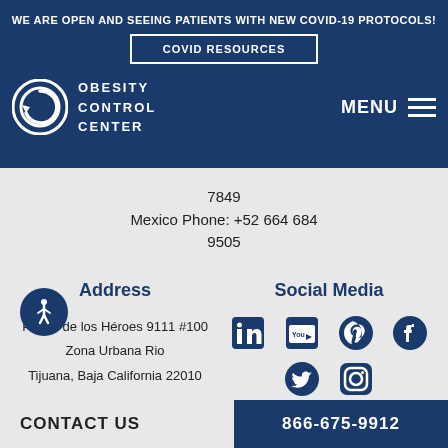WE ARE OPEN AND SEEING PATIENTS WITH NEW COVID-19 PROTOCOLS!
COVID RESOURCES
[Figure (logo): Obesity Control Center logo with circular arrow icon and text OBESITY CONTROL CENTER]
MENU
7849
Mexico Phone: +52 664 684 9505
Address
Paseo de los Héroes 9111 #100
Zona Urbana Rio
Tijuana, Baja California 22010
Social Media
[Figure (infographic): Social media icons: LinkedIn, YouTube, Pinterest, Facebook, Twitter, Instagram in dark blue]
[Figure (infographic): Wheelchair accessibility icon in white on dark blue circular button]
CONTACT US
866-675-9912